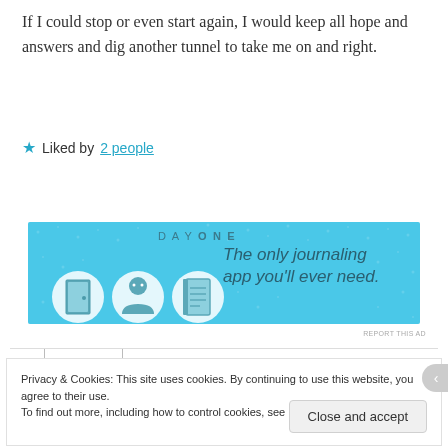If I could stop or even start again, I would keep all hope and answers and dig another tunnel to take me on and right.
★ Liked by 2 people
REPLY
[Figure (infographic): Day One journaling app advertisement banner. Blue background with three circular icons (door, person, notebook) and text 'The only journaling app you'll ever need.' with 'DAY ONE' branding at top.]
REPORT THIS AD
Privacy & Cookies: This site uses cookies. By continuing to use this website, you agree to their use. To find out more, including how to control cookies, see here: Cookie Policy
Close and accept